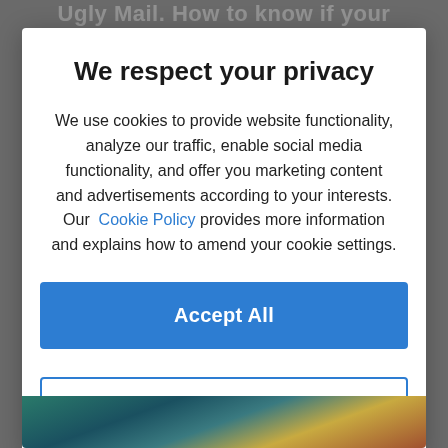Ugly Mail. How to know if your
We respect your privacy
We use cookies to provide website functionality, analyze our traffic, enable social media functionality, and offer you marketing content and advertisements according to your interests. Our Cookie Policy provides more information and explains how to amend your cookie settings.
Accept All
Cookies Settings